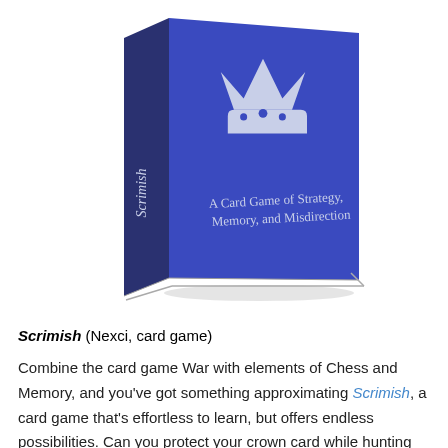[Figure (photo): A blue card game box for 'Scrimish' showing a white crown logo on the front and the text 'A Card Game of Strategy, Memory, and Misdirection'. The word 'Scrimish' appears in italic script on the spine of the box.]
Scrimish (Nexci, card game)
Combine the card game War with elements of Chess and Memory, and you've got something approximating Scrimish, a card game that's effortless to learn, but offers endless possibilities. Can you protect your crown card while hunting down your opponent's? With